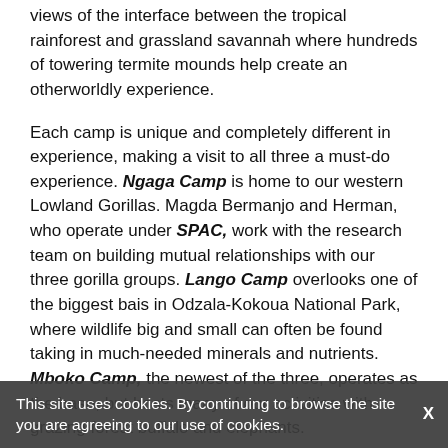views of the interface between the tropical rainforest and grassland savannah where hundreds of towering termite mounds help create an otherworldly experience.
Each camp is unique and completely different in experience, making a visit to all three a must-do experience. Ngaga Camp is home to our western Lowland Gorillas. Magda Bermanjo and Herman, who operate under SPAC, work with the research team on building mutual relationships with our three gorilla groups. Lango Camp overlooks one of the biggest bais in Odzala-Kokoua National Park, where wildlife big and small can often be found taking in much-needed minerals and nutrients. Mboko Camp, the newest of the three, operates as the base, but hosts many of our activities with grazing forest buffalo and elephants.
The activities allow guests to explore the tapestry of forests, rivers, baïs and savannahs at the heart of the ... All visitors will gain a deeper understanding
This site uses cookies. By continuing to browse the site you are agreeing to our use of cookies.